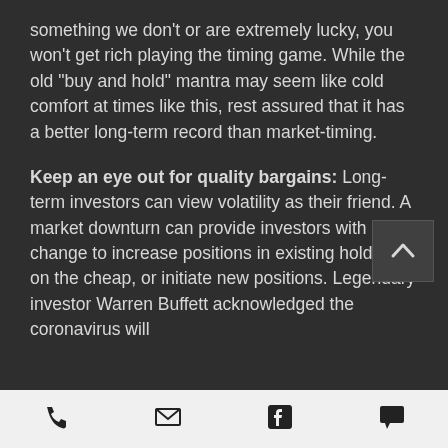something we don't or are extremely lucky, you won't get rich playing the timing game. While the old “buy and hold” mantra may seem like cold comfort at times like this, rest assured that it has a better long-term record than market-timing.
Keep an eye out for quality bargains: Long-term investors can view volatility as their friend. A market downturn can provide investors with a change to increase positions in existing holdings on the cheap, or initiate new positions. Legendary investor Warren Buffett acknowledged the coronavirus will
[phone] [email] [facebook] [chat]